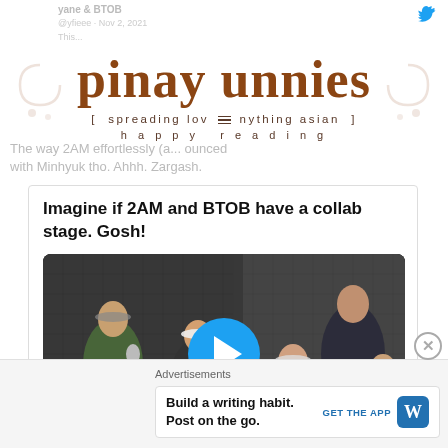pinay unnies
[ spreading love  nything asian ] happy reading
yane & BTOB @yfieee · Nov 2, 2021 This...
The way 2AM effortlessly (a... ounced with Minhyuk tho. Ahhh. Zargash.
Imagine if 2AM and BTOB have a collab stage. Gosh!
[Figure (screenshot): Video thumbnail showing a radio studio with multiple people at microphones, with a blue circular play button overlay in the center]
Advertisements
Build a writing habit. Post on the go.
GET THE APP